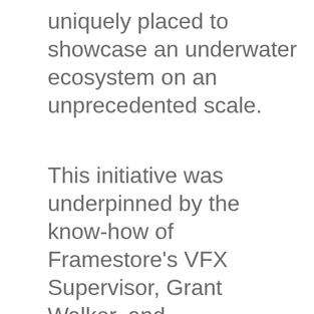uniquely placed to showcase an underwater ecosystem on an unprecedented scale.
This initiative was underpinned by the know-how of Framestore's VFX Supervisor, Grant Walker, and Framestore's CG Supervisor, Hernan Llano, who also happened to study biology at university before becoming a VFX artist. Alongside the creation and animation of the photo-real schools of fish seen teeming in the verdant coral, the team proved they could actually grow corals in real time for the scenes and